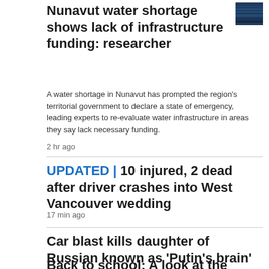Nunavut water shortage shows lack of infrastructure funding: researcher
[Figure (photo): Small thumbnail image of water, dark blue tones]
A water shortage in Nunavut has prompted the region's territorial government to declare a state of emergency, leading experts to re-evaluate water infrastructure in areas they say lack necessary funding.
2 hr ago
UPDATED | 10 injured, 2 dead after driver crashes into West Vancouver wedding
17 min ago
Car blast kills daughter of Russian known as 'Putin's brain'
8 hr ago
Back to school: A look at the COVID-19 rules in